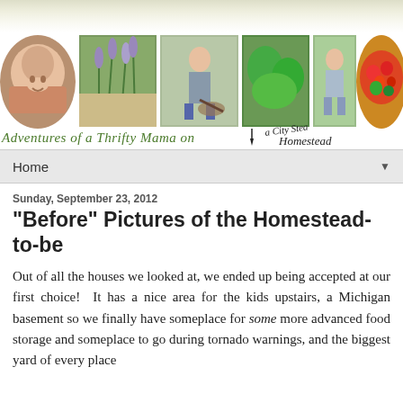[Figure (photo): Website header banner showing collage of photos: smiling child, herb/lavender plants, child with wheelbarrow, green garden plants, child in yard, bowl of tomatoes and vegetables. Text overlay reads 'Adventures of a Thrifty Mama on a City Stead Homestead' in handwritten green font.]
Home ▼
Sunday, September 23, 2012
"Before" Pictures of the Homestead-to-be
Out of all the houses we looked at, we ended up being accepted at our first choice!  It has a nice area for the kids upstairs, a Michigan basement so we finally have someplace for some more advanced food storage and someplace to go during tornado warnings, and the biggest yard of every place